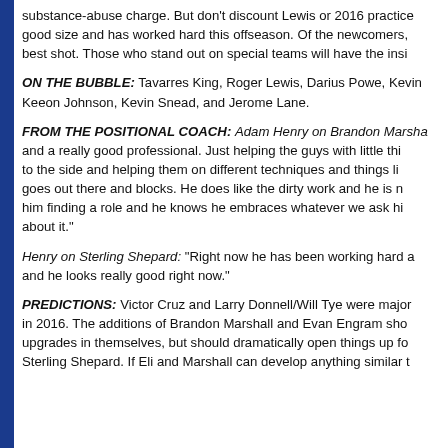substance-abuse charge. But don't discount Lewis or 2016 practice good size and has worked hard this offseason. Of the newcomers, best shot. Those who stand out on special teams will have the insi
ON THE BUBBLE: Tavarres King, Roger Lewis, Darius Powe, Kevin Keeon Johnson, Kevin Snead, and Jerome Lane.
FROM THE POSITIONAL COACH: Adam Henry on Brandon Marsha and a really good professional. Just helping the guys with little thi to the side and helping them on different techniques and things li goes out there and blocks. He does like the dirty work and he is n him finding a role and he knows he embraces whatever we ask hi about it."
Henry on Sterling Shepard: "Right now he has been working hard a and he looks really good right now."
PREDICTIONS: Victor Cruz and Larry Donnell/Will Tye were major in 2016. The additions of Brandon Marshall and Evan Engram sho upgrades in themselves, but should dramatically open things up fo Sterling Shepard. If Eli and Marshall can develop anything similar